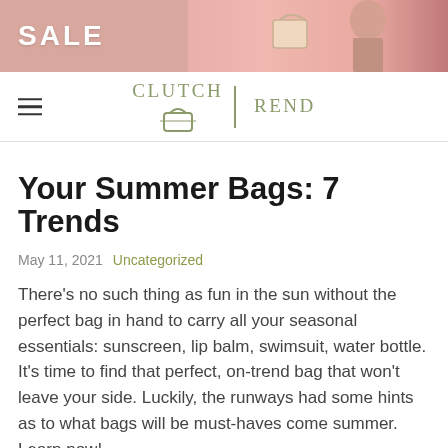[Figure (photo): Pink sale banner with handbag and woman in sunglasses]
CLUTCH TREND
Your Summer Bags: 7 Trends
May 11, 2021  Uncategorized
There’s no such thing as fun in the sun without the perfect bag in hand to carry all your seasonal essentials: sunscreen, lip balm, swimsuit, water bottle. It’s time to find that perfect, on-trend bag that won’t leave your side. Luckily, the runways had some hints as to what bags will be must-haves come summer. Learn now!